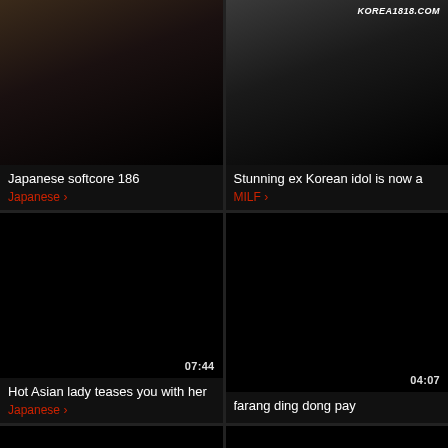[Figure (screenshot): Video thumbnail - dark/black, top-left card]
Japanese softcore 186
Japanese
[Figure (screenshot): Video thumbnail with KOREA1818.COM watermark, top-right card]
Stunning ex Korean idol is now a
MILF
[Figure (screenshot): Video thumbnail 07:44, dark]
Hot Asian lady teases you with her
Japanese
[Figure (screenshot): Video thumbnail 04:07, dark]
farang ding dong pay
[Figure (screenshot): Video thumbnail 11:16, dark]
korean softcore collection foursome
Babe
[Figure (screenshot): Video thumbnail 05:24, dark]
softcore skinny petite asian
[Figure (screenshot): Video thumbnail 05:38, dark, partial]
[Figure (screenshot): Video thumbnail 08:52, dark, partial]